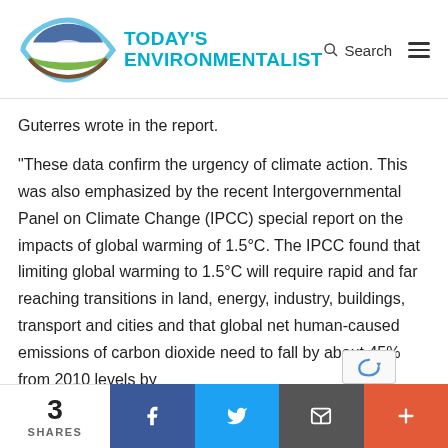[Figure (logo): Today's Environmentalist logo with eye-shaped icon featuring blue, green, and brown colors, and cyan text reading TODAY'S ENVIRONMENTALIST]
Guterres wrote in the report.
“These data confirm the urgency of climate action. This was also emphasized by the recent Intergovernmental Panel on Climate Change (IPCC) special report on the impacts of global warming of 1.5°C. The IPCC found that limiting global warming to 1.5°C will require rapid and far reaching transitions in land, energy, industry, buildings, transport and cities and that global net human-caused emissions of carbon dioxide need to fall by about 45% from 2010 levels by
3 SHARES | Facebook | Twitter | Email | More